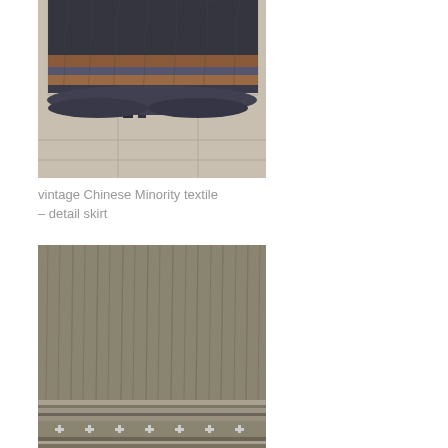[Figure (photo): Photograph of a vintage Chinese Minority textile skirt detail, showing colorful patterned bands with blue, gray, brown and rust tones, laid on a tiled floor.]
vintage Chinese Minority textile – detail skirt
[Figure (photo): Photograph of a vintage Chinese Minority textile skirt detail, showing pleated olive/khaki fabric with decorative striped border at the bottom featuring small white pattern motifs.]